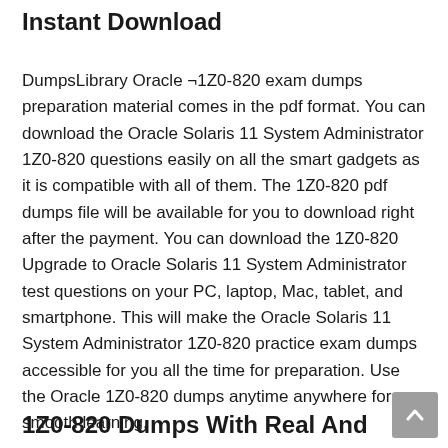Instant Download
DumpsLibrary Oracle ¬1Z0-820 exam dumps preparation material comes in the pdf format. You can download the Oracle Solaris 11 System Administrator 1Z0-820 questions easily on all the smart gadgets as it is compatible with all of them. The 1Z0-820 pdf dumps file will be available for you to download right after the payment. You can download the 1Z0-820 Upgrade to Oracle Solaris 11 System Administrator test questions on your PC, laptop, Mac, tablet, and smartphone. This will make the Oracle Solaris 11 System Administrator 1Z0-820 practice exam dumps accessible for you all the time for preparation. Use the Oracle 1Z0-820 dumps anytime anywhere for smooth learning.
1Z0-820 Dumps With Real And